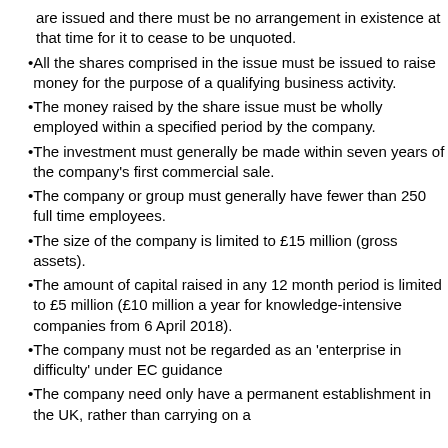are issued and there must be no arrangement in existence at that time for it to cease to be unquoted.
All the shares comprised in the issue must be issued to raise money for the purpose of a qualifying business activity.
The money raised by the share issue must be wholly employed within a specified period by the company.
The investment must generally be made within seven years of the company's first commercial sale.
The company or group must generally have fewer than 250 full time employees.
The size of the company is limited to £15 million (gross assets).
The amount of capital raised in any 12 month period is limited to £5 million (£10 million a year for knowledge-intensive companies from 6 April 2018).
The company must not be regarded as an 'enterprise in difficulty' under EC guidance
The company need only have a permanent establishment in the UK, rather than carrying on a